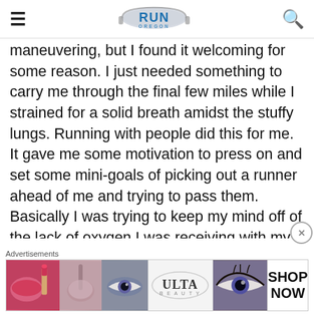RUN OREGON
maneuvering, but I found it welcoming for some reason. I just needed something to carry me through the final few miles while I strained for a solid breath amidst the stuffy lungs. Running with people did this for me. It gave me some motivation to press on and set some mini-goals of picking out a runner ahead of me and trying to pass them. Basically I was trying to keep my mind off of the lack of oxygen I was receiving with my breathing any
[Figure (advertisement): Ulta Beauty advertisement banner with makeup and eye images and SHOP NOW button]
Advertisements